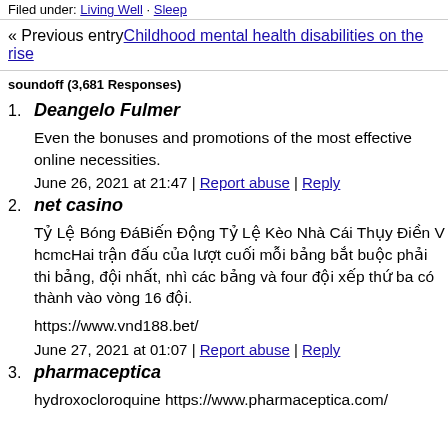Filed under: Living Well · Sleep
« Previous entry Childhood mental health disabilities on the rise
soundoff (3,681 Responses)
1. Deangelo Fulmer
Even the bonuses and promotions of the most effective online necessities.
June 26, 2021 at 21:47 | Report abuse | Reply
2. net casino
Tỷ Lệ Bóng ĐáBiến Động Tỷ Lệ Kèo Nhà Cái Thụy Điền V hcmcHai trận đấu của lượt cuối mỗi bảng bắt buộc phải thi bảng, đội nhất, nhì các bảng và four đội xếp thứ ba có thành vào vòng 16 đội.
https://www.vnd188.bet/
June 27, 2021 at 01:07 | Report abuse | Reply
3. pharmaceptica
hydroxocloroquine https://www.pharmaceptica.com/